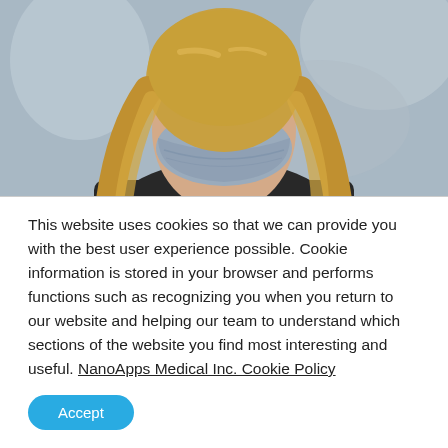[Figure (photo): Woman wearing a face mask, blonde hair, dark jacket, blurred outdoor background]
SARS-CoV-2 virus undertakes a massive takeover of the body's fat-processing system
The virus that causes COVID-19 undertakes a
This website uses cookies so that we can provide you with the best user experience possible. Cookie information is stored in your browser and performs functions such as recognizing you when you return to our website and helping our team to understand which sections of the website you find most interesting and useful. NanoApps Medical Inc. Cookie Policy
Accept